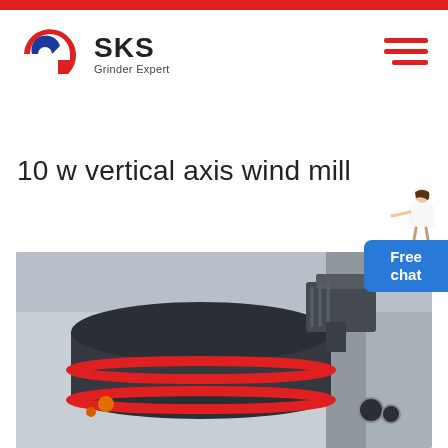SKS Grinder Expert
10 w vertical axis wind mill
[Figure (photo): Industrial grinding/milling machine (dark grey cylindrical body with red accent stripes, motor attached at top right) photographed in a factory/warehouse setting.]